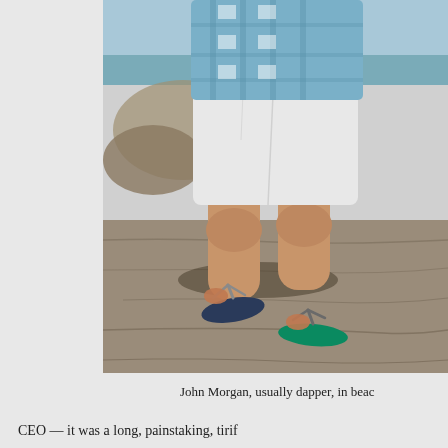[Figure (photo): Photo of a person (John Morgan) standing on rocky beach terrain, wearing white shorts, a blue plaid shirt, and flip flops. The person is shown from torso down. Rocky boulders and water visible in background.]
John Morgan, usually dapper, in beac
CEO — it was a long, painstaking, tirif...